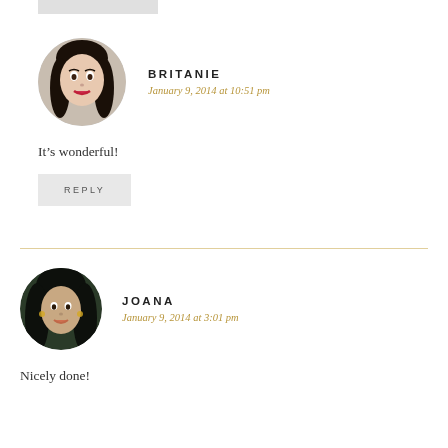[Figure (photo): Circular avatar photo of Britanie, a young woman with dark hair and red lips]
BRITANIE
January 9, 2014 at 10:51 pm
It's wonderful!
REPLY
[Figure (photo): Circular avatar photo of Joana, a young woman with long dark wavy hair]
JOANA
January 9, 2014 at 3:01 pm
Nicely done!